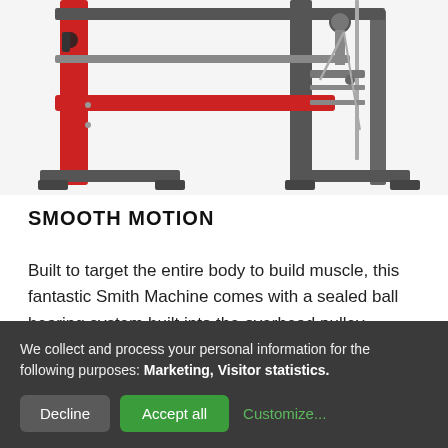[Figure (photo): A Smith Machine gym equipment with red and grey frame, showing overhead pulley system and weight rack structure, photographed on white background.]
SMOOTH MOTION
Built to target the entire body to build muscle, this fantastic Smith Machine comes with a sealed ball bearing system built into the overhead pulley
We collect and process your personal information for the following purposes: Marketing, Visitor statistics.
Decline
Accept all
Customize...